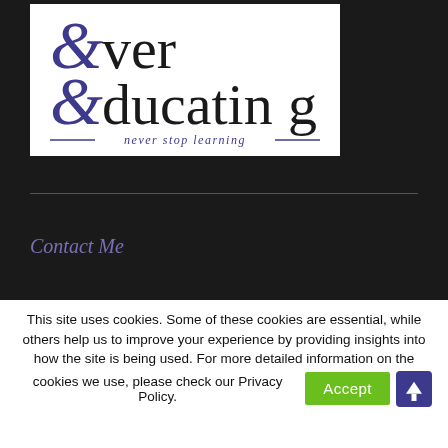[Figure (logo): EverEducating logo — stylized 'E' with curly serif in purple for 'Ever' and 'Educating' in black serif, tagline 'never stop learning' in purple italic with decorative lines]
Contact Me
This site uses cookies. Some of these cookies are essential, while others help us to improve your experience by providing insights into how the site is being used. For more detailed information on the cookies we use, please check our Privacy Policy.
Accept